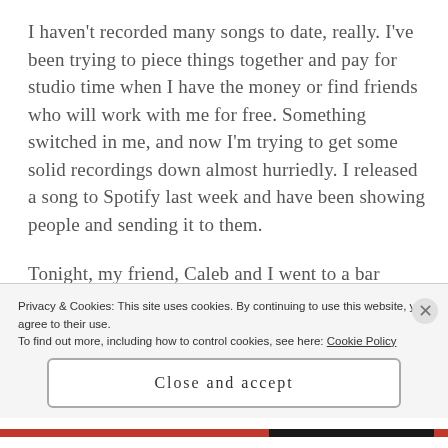I haven't recorded many songs to date, really. I've been trying to piece things together and pay for studio time when I have the money or find friends who will work with me for free. Something switched in me, and now I'm trying to get some solid recordings down almost hurriedly. I released a song to Spotify last week and have been showing people and sending it to them.
Tonight, my friend, Caleb and I went to a bar called 'Three Spirits Tavern' in Bellevue, Kentucky and
Privacy & Cookies: This site uses cookies. By continuing to use this website, you agree to their use.
To find out more, including how to control cookies, see here: Cookie Policy
Close and accept